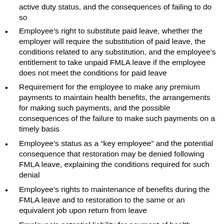active duty status, and the consequences of failing to do so
Employee's right to substitute paid leave, whether the employer will require the substitution of paid leave, the conditions related to any substitution, and the employee's entitlement to take unpaid FMLA leave if the employee does not meet the conditions for paid leave
Requirement for the employee to make any premium payments to maintain health benefits, the arrangements for making such payments, and the possible consequences of the failure to make such payments on a timely basis
Employee's status as a “key employee” and the potential consequence that restoration may be denied following FMLA leave, explaining the conditions required for such denial
Employee's rights to maintenance of benefits during the FMLA leave and to restoration to the same or an equivalent job upon return from leave
Employee's potential liability for payment of health insurance premiums paid by the employer during the employee's unpaid FMLA leave if the employee fails to